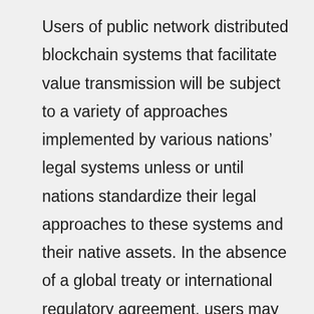Users of public network distributed blockchain systems that facilitate value transmission will be subject to a variety of approaches implemented by various nations’ legal systems unless or until nations standardize their legal approaches to these systems and their native assets. In the absence of a global treaty or international regulatory agreement, users may be subject to legal arbitrages, which may create new